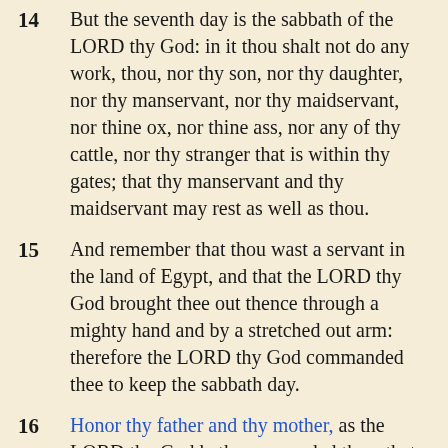14  But the seventh day is the sabbath of the LORD thy God: in it thou shalt not do any work, thou, nor thy son, nor thy daughter, nor thy manservant, nor thy maidservant, nor thine ox, nor thine ass, nor any of thy cattle, nor thy stranger that is within thy gates; that thy manservant and thy maidservant may rest as well as thou.
15  And remember that thou wast a servant in the land of Egypt, and that the LORD thy God brought thee out thence through a mighty hand and by a stretched out arm: therefore the LORD thy God commanded thee to keep the sabbath day.
16  Honor thy father and thy mother, as the LORD thy God hath commanded thee; that thy days may be prolonged, and that it may go well with thee, in the land which the LORD thy God giveth thee. Ex 20:12 21:27 Lev 20:9 Dt 5:16 27:16 Prov